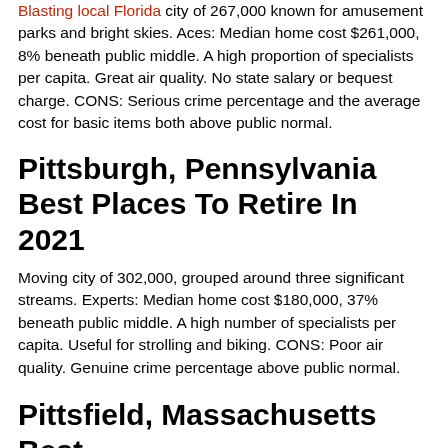Blasting local Florida city of 267,000 known for amusement parks and bright skies. Aces: Median home cost $261,000, 8% beneath public middle. A high proportion of specialists per capita. Great air quality. No state salary or bequest charge. CONS: Serious crime percentage and the average cost for basic items both above public normal.
Pittsburgh, Pennsylvania Best Places To Retire In 2021
Moving city of 302,000, grouped around three significant streams. Experts: Median home cost $180,000, 37% beneath public middle. A high number of specialists per capita. Useful for strolling and biking. CONS: Poor air quality. Genuine crime percentage above public normal.
Pittsfield, Massachusetts Best